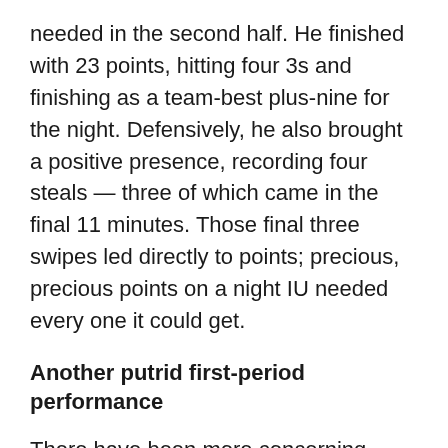needed in the second half. He finished with 23 points, hitting four 3s and finishing as a team-best plus-nine for the night. Defensively, he also brought a positive presence, recording four steals — three of which came in the final 11 minutes. Those final three swipes led directly to points; precious, precious points on a night IU needed every one it could get.
Another putrid first-period performance
There have been more concerning trends than positive ones to emerge during the first three and a half years of the Archie Miller era, slow starts chiefly among them. Though the uninspired opening stretches were perhaps most glaring during the 2018-19 campaign, they've continued to pop up throughout this season, too. Add Wednesday to the list.